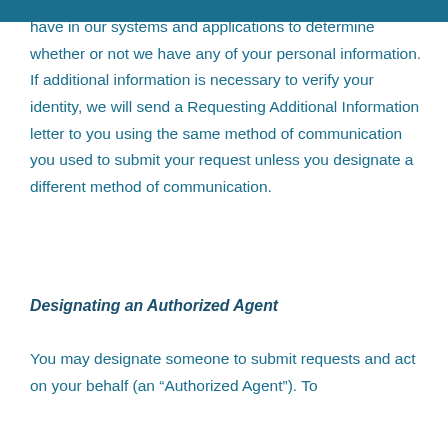have in our systems and applications to determine whether or not we have any of your personal information.  If additional information is necessary to verify your identity, we will send a Requesting Additional Information letter to you using the same method of communication you used to submit your request unless you designate a different method of communication.
Designating an Authorized Agent
You may designate someone to submit requests and act on your behalf (an “Authorized Agent”). To